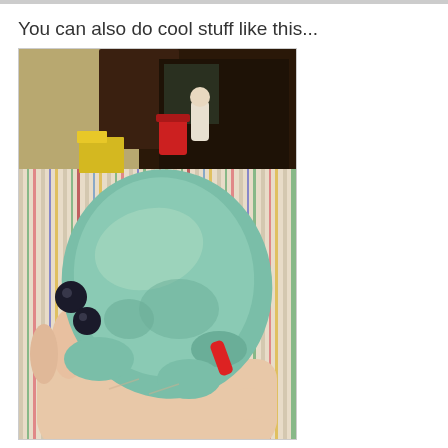You can also do cool stuff like this...
[Figure (photo): A hand holding a large blob of green slime/putty, with a colorful striped tablecloth in the background, craft supplies and a red cup visible on the table, and dark shelving in the upper right background.]